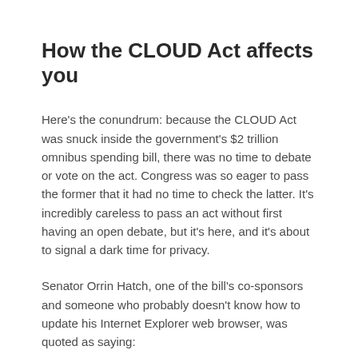How the CLOUD Act affects you
Here's the conundrum: because the CLOUD Act was snuck inside the government's $2 trillion omnibus spending bill, there was no time to debate or vote on the act. Congress was so eager to pass the former that it had no time to check the latter. It's incredibly careless to pass an act without first having an open debate, but it's here, and it's about to signal a dark time for privacy.
Senator Orrin Hatch, one of the bill's co-sponsors and someone who probably doesn't know how to update his Internet Explorer web browser, was quoted as saying:
The CLOUD Act bridges the divide that sometimes exists between law enforcement and the technology division of government the...